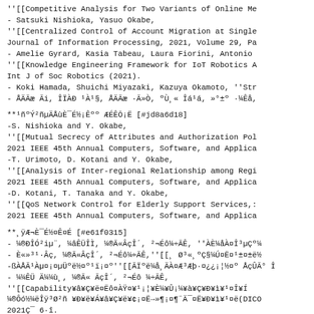''[[Competitive Analysis for Two Variants of Online Me
- Satsuki Nishioka, Yasuo Okabe,
''[[Centralized Control of Account Migration at Single
Journal of Information Processing, 2021, Volume 29, Pa
- Amelie Gyrard, Kasia Tabeau, Laura Fiorini, Antonio
''[[Knowledge Engineering Framework for IoT Robotics A
Int J of Soc Robotics (2021).
- Koki Hamada, Shuichi Miyazaki, Kazuya Okamoto, ''Str
- ÅÄÃæ Ãi, ÎÏÀÐ ¹À¹§, ÅÄÃæ ·Ã»Ò, ºÙ¸« Îá¹á, »°±º ·¼Êå,
**¹ñºÝ²ñµÄÅùÈ¯É½¡Êºº ÆÉÊŌ¡Ë [#jd8a6d18]
-S. Nishioka and Y. Okabe,
''[[Mutual Secrecy of Attributes and Authorization Pol
2021 IEEE 45th Annual Computers, Software, and Applica
-T. Urimoto, D. Kotani and Y. Okabe,
''[[Analysis of Inter-regional Relationship among Regi
2021 IEEE 45th Annual Computers, Software, and Applica
-D. Kotani, T. Tanaka and Y. Okabe,
''[[QoS Network Control for Elderly Support Services,:
2021 IEEE 45th Annual Computers, Software, and Applica
**¸ÿÆ¬È¯É½¤Ê¤É [#e61f0315]
- ¼®ÐÎÓ²iµ¨, ¼âÊÜÎÌ, ¼®Ã«ÂçÎ´, ²¬Éô¼÷ÃÊ, ''ÀÈ¼åÀ¤Î³µÇº¼
- È«»³¹·Âç, ¼®Ã«ÂçÎ´, ²¬Éô¼÷ÃÊ,''[[¸ Ø³«¸ºÇ§¼Ú¤Ë¤¹±¤±ë½
-ßÀÅÃ¹Àµ¤¡¤µÜºë½¤º¹ï¡¤º''[[ÃÏºë¼å¸ÄÀ¤Æ³Æþ·¤¿¿¡¦½¤º ÅçÛÃ° Î
- ¼¼ÊÜ Ä¼¼ù¸, ¼®Ã« ÃçÎ´, ²¬Éô ¼÷ÃÊ,
''[[Capability¥â¥Ç¥ë¤Ëô¤ÀŸ¤¥¹¡¦¥È¼¥Û¡¼¥à¥Ç¥Ð¥ì¥¹¤Î¥Í
¼®Ôó½¼ëÎÿ³Ø²ñ ¥Ð¥ë¥Á¥â¥Ç¥ë¥¢¡¤Ë→»¶¡¤¶¨Ä¯¤Ë¥Ð¥ì¥¹¤ë(DICO
2021Ç¯ 6·î.